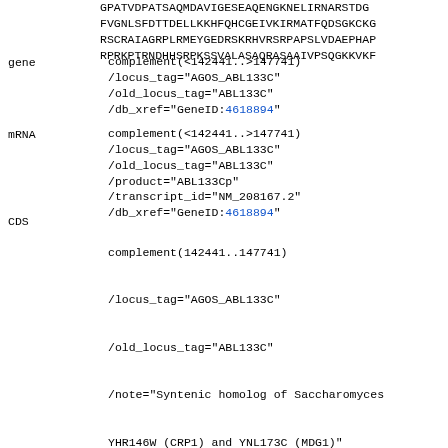GPATVDPATSAQMDAVIGESEAQENGKNELIRNARSTDG...
FVGNLSFDTTDELLKKHFQHCGEIVKIRMATFQDSGKCKG...
RSCRAIAGRPLRMEYGEDRSKRHVRSRPAPSLVDAEPHAP...
RPRKPTRNDHHSRPKSSVALASAQRASAAAIVPSQGKKVKF...
gene  complement(<142441..>147741)
        /locus_tag="AGOS_ABL133C"
        /old_locus_tag="ABL133C"
        /db_xref="GeneID:4618894"
mRNA  complement(<142441..>147741)
        /locus_tag="AGOS_ABL133C"
        /old_locus_tag="ABL133C"
        /product="ABL133Cp"
        /transcript_id="NM_208167.2"
        /db_xref="GeneID:4618894"
CDS   complement(142441..147741)
        /locus_tag="AGOS_ABL133C"
        /old_locus_tag="ABL133C"
        /note="Syntenic homolog of Saccharomyces YHR146W (CRP1) and YNL173C (MDG1)"
        /codon_start=1
        /product="ABL133Cp"
        /protein_id="NP_982814.2"
        /db_xref="GeneID:4618894"
        /translation="MVDFTFTWPSGPKKVVITGDFDRWQG...
        GVVESDKFYFKFIVDGQWVTSDLYPKDSLTGAENNYVLLS...
        ALRAQPAPGSKKGKKKKKGKKRTRRNRSAGEASPAP GESP...
        PRDAPHSAASAAAEKAAAAAAEVAAAVAAGAGAAMAVAAA...
        DPSEVAELHQVDGEALNKRLNAERSGQHAGTLDPRASEKL...
        LDSTRGPAEDTTPLISANSTNPGKMVGLGLTEGIDTSGAI...
        DTPTASGKPKDRNVAPVPESTPLREDVTPAREDSSLPETN...
        AEDTLKPSGNDQKKSRVPEIAVAGQTTSQNSSIPSSAKDT...
        TPEPSEKPSVKGATPSALSQKPISRDSAPADGSKPSIEKA...
        STRALSDKPSVKGATPSSPAQLVKKDVGSNDGSKSATEG...